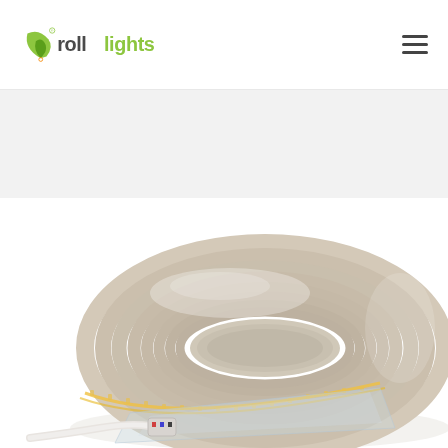rolllights logo and navigation
[Figure (photo): A coiled roll of COB LED strip light, warm white, wrapped in plastic packaging, with white connector cable visible at the bottom left. The strip shows a continuous line of LEDs along its edge. The background is white.]